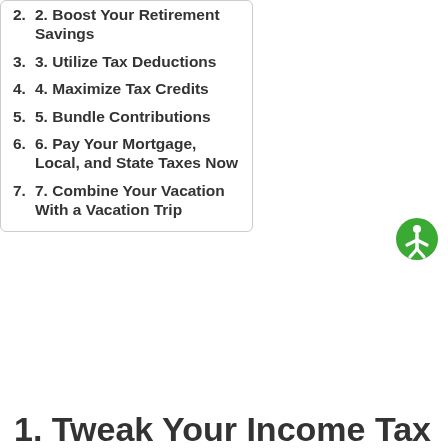2. 2. Boost Your Retirement Savings
3. 3. Utilize Tax Deductions
4. 4. Maximize Tax Credits
5. 5. Bundle Contributions
6. 6. Pay Your Mortgage, Local, and State Taxes Now
7. 7. Combine Your Vacation With a Vacation Trip
1. Tweak Your Income Tax